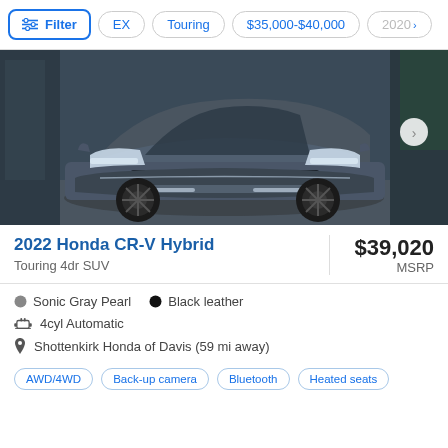Filter | EX | Touring | $35,000-$40,000 | 2020
[Figure (photo): Front view of a 2022 Honda CR-V Hybrid in Sonic Gray Pearl color, parked in a modern setting]
2022 Honda CR-V Hybrid
Touring 4dr SUV
$39,020 MSRP
Sonic Gray Pearl  •  Black leather
4cyl Automatic
Shottenkirk Honda of Davis (59 mi away)
AWD/4WD  Back-up camera  Bluetooth  Heated seats